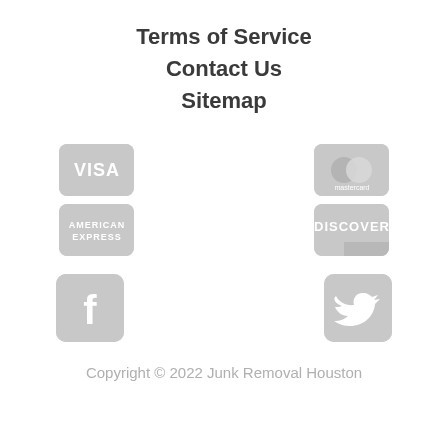Terms of Service
Contact Us
Sitemap
[Figure (logo): Visa credit card logo, greyscale rounded rectangle]
[Figure (logo): Mastercard credit card logo, greyscale rounded rectangle]
[Figure (logo): American Express credit card logo, greyscale rounded rectangle]
[Figure (logo): Discover credit card logo, greyscale rounded rectangle]
[Figure (logo): Facebook social media icon, greyscale rounded rectangle]
[Figure (logo): Twitter social media icon, greyscale rounded rectangle]
Copyright © 2022 Junk Removal Houston